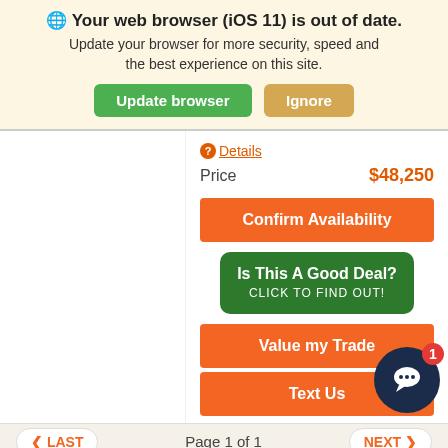Your web browser (iOS 11) is out of date.
Update your browser for more security, speed and the best experience on this site.
Update browser | Ignore
Details
Price $48,250
Confirm Availability
Is This A Good Deal? CLICK TO FIND OUT!
Value my Trade
Text Us
LAST   Page 1 of 1   NEXT